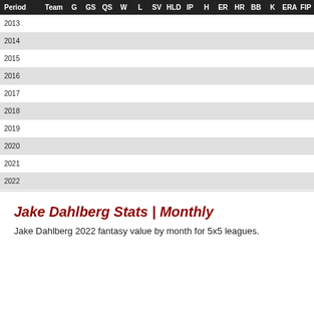| Period | Team | G | GS | QS | W | L | SV | HLD | IP | H | ER | HR | BB | K | ERA | FIP |
| --- | --- | --- | --- | --- | --- | --- | --- | --- | --- | --- | --- | --- | --- | --- | --- | --- |
| 2013 |  |  |  |  |  |  |  |  |  |  |  |  |  |  |  |  |
| 2014 |  |  |  |  |  |  |  |  |  |  |  |  |  |  |  |  |
| 2015 |  |  |  |  |  |  |  |  |  |  |  |  |  |  |  |  |
| 2016 |  |  |  |  |  |  |  |  |  |  |  |  |  |  |  |  |
| 2017 |  |  |  |  |  |  |  |  |  |  |  |  |  |  |  |  |
| 2018 |  |  |  |  |  |  |  |  |  |  |  |  |  |  |  |  |
| 2019 |  |  |  |  |  |  |  |  |  |  |  |  |  |  |  |  |
| 2020 |  |  |  |  |  |  |  |  |  |  |  |  |  |  |  |  |
| 2021 |  |  |  |  |  |  |  |  |  |  |  |  |  |  |  |  |
| 2022 |  |  |  |  |  |  |  |  |  |  |  |  |  |  |  |  |
Jake Dahlberg Stats | Monthly
Jake Dahlberg 2022 fantasy value by month for 5x5 leagues.